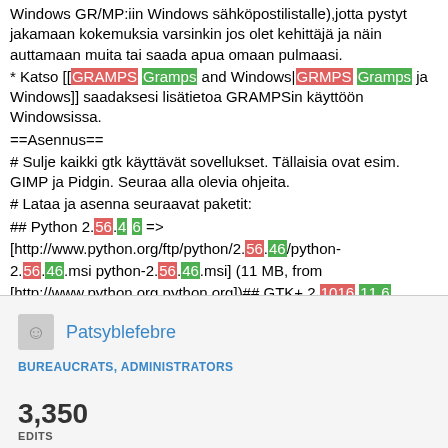Windows GRAMPS:iin Windows sähköpostilistalle),jotta pystyt jakamaan kokemuksia varsinkin jos olet kehittäjä ja näin auttamaan muita tai saada apua omaan pulmaasi.
* Katso [[GRAMPS Gramps and Windows|GRMPS Gramps ja Windows]] saadaksesi lisätietoa GRAMPSin käyttöön Windowsissa.
==Asennus==
# Sulje kaikki gtk käyttävät sovellukset. Tällaisia ovat esim. GIMP ja Pidgin. Seuraa alla olevia ohjeita.
# Lataa ja asenna seuraavat paketit:
## Python 2.56.4 6 => [http://www.python.org/ftp/python/2.56.46/python-2.56.46.msi python-2.56.46.msi] (11 MB, from [http://www.python.org python.org])## GTK+ 2.1016.11 6
Patsyblefebre
BUREAUCRATS, ADMINISTRATORS
3,350 EDITS